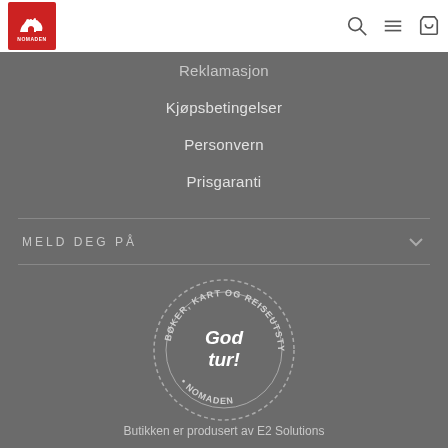[Figure (logo): Nomaden logo - red square with white camel silhouette and NOMADEN text]
[Figure (other): Search, menu, and cart icons in header]
Reklamasjon
Kjøpsbetingelser
Personvern
Prisgaranti
MELD DEG PÅ
[Figure (logo): Circular stamp logo reading BØKER, KART OG REISEUTSTYR • NOMADEN with 'God tur!' in center]
Butikken er produsert av E2 Solutions